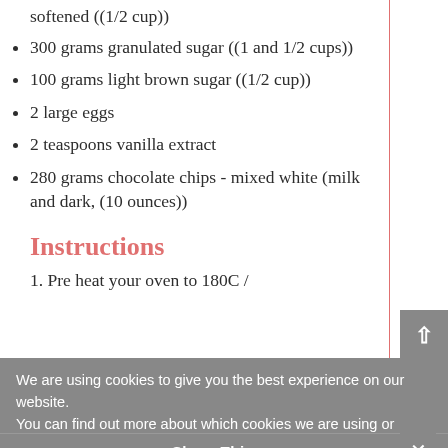softened ((1/2 cup))
300 grams granulated sugar ((1 and 1/2 cups))
100 grams light brown sugar ((1/2 cup))
2 large eggs
2 teaspoons vanilla extract
280 grams chocolate chips - mixed white (milk and dark, (10 ounces))
Instructions
1. Pre heat your oven to 180C /
We are using cookies to give you the best experience on our website.
You can find out more about which cookies we are using or switch them off in settings.